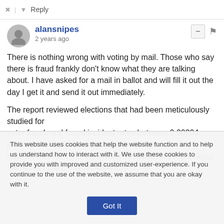Reply
alansnipes
2 years ago
There is nothing wrong with voting by mail. Those who say there is fraud frankly don't know what they are talking about. I have asked for a mail in ballot and will fill it out the day I get it and send it out immediately.

The report reviewed elections that had been meticulously studied for
voter fraud, and found incident rates between 0.00004 percent and 0.0009 percent. Given this tiny
incident rate for voter impersonation fraud, it is more likely, the report noted, that an American
This website uses cookies that help the website function and to help us understand how to interact with it. We use these cookies to provide you with improved and customized user-experience. If you continue to the use of the website, we assume that you are okay with it.